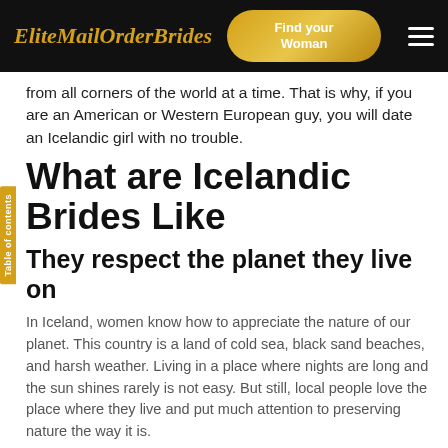EliteMailOrderBrides | Find your Woman
from all corners of the world at a time. That is why, if you are an American or Western European guy, you will date an Icelandic girl with no trouble.
What are Icelandic Brides Like
They respect the planet they live on
In Iceland, women know how to appreciate the nature of our planet. This country is a land of cold sea, black sand beaches, and harsh weather. Living in a place where nights are long and the sun shines rarely is not easy. But still, local people love the place where they live and put much attention to preserving nature the way it is.
They are optimistic